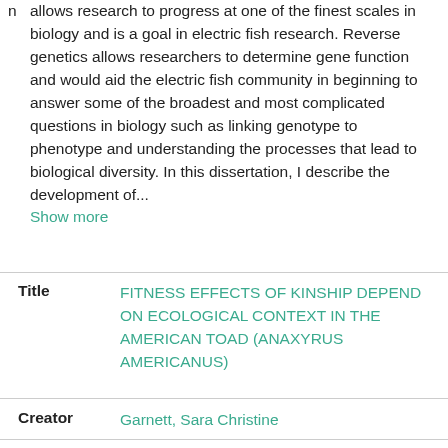n allows research to progress at one of the finest scales in biology and is a goal in electric fish research. Reverse genetics allows researchers to determine gene function and would aid the electric fish community in beginning to answer some of the broadest and most complicated questions in biology such as linking genotype to phenotype and understanding the processes that lead to biological diversity. In this dissertation, I describe the development of... Show more
| Field | Value |
| --- | --- |
| Title | FITNESS EFFECTS OF KINSHIP DEPEND ON ECOLOGICAL CONTEXT IN THE AMERICAN TOAD (ANAXYRUS AMERICANUS) |
| Creator | Garnett, Sara Christine |
| Date | 2018 |